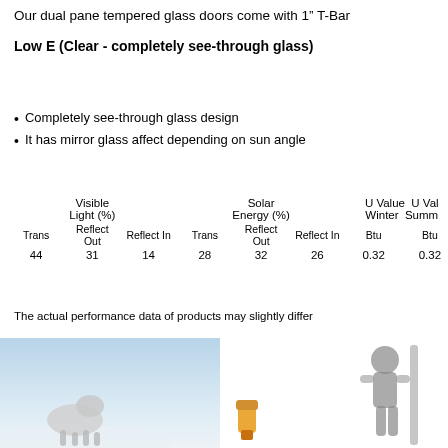Our dual pane tempered glass doors come with 1” T-Bar
Low E (Clear - completely see-through glass)
Completely see-through glass design
It has mirror glass affect depending on sun angle
| Visible Light (%) Trans | Visible Light (%) Reflect Out | Visible Light (%) Reflect In | Solar Energy (%) Trans | Solar Energy (%) Reflect Out | Solar Energy (%) Reflect In | U Value Winter Btu | U Value Summer Btu |
| --- | --- | --- | --- | --- | --- | --- | --- |
| 44 | 31 | 14 | 28 | 32 | 26 | 0.32 | 0.32 |
The actual performance data of products may slightly differ
[Figure (photo): Photo of a snowy/winter outdoor scene with an animal (possibly a goat or polar bear) and tools in the foreground]